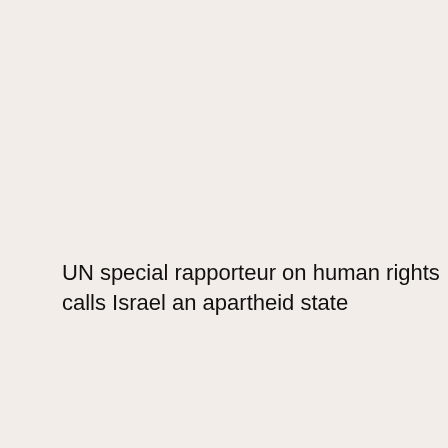UN special rapporteur on human rights calls Israel an apartheid state